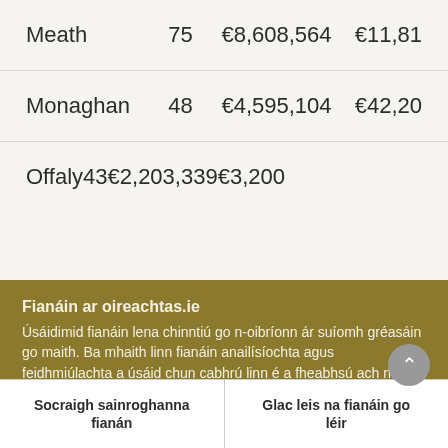| County | Count | Amount 1 | Amount 2 |
| --- | --- | --- | --- |
| Meath | 75 | €8,608,564 | €11,81… |
| Monaghan | 48 | €4,595,104 | €42,20… |
| Offaly | 43 | €2,203,339 | €3,200… |
Fianáin ar oireachtas.ie
Úsáidimid fianáin lena chinntiú go n-oibríonn ár suíomh gréasáin go maith. Ba mhaith linn fianáin anailísíochta agus feidhmiúlachta a úsáid chun cabhrú linn é a fheabhsú ach ní mór dúinn cead a fháil uait sin a dhéanamh. Mura bhfuil tú sásta cead a thabhairt, ní úsáidfear ach fianáin riachtanacha. Léigh tuileadh faoinár bhfianáin
Socraigh sainroghanna fianán
Glac leis na fianáin go léir